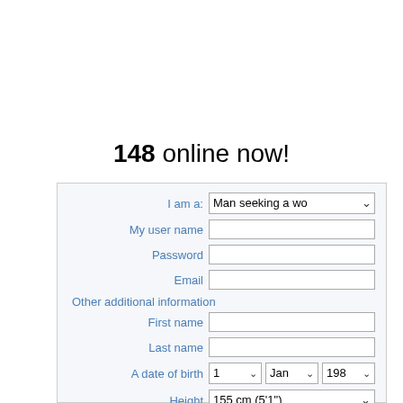148 online now!
[Figure (screenshot): A web registration form with fields: I am a (dropdown: Man seeking a wo), My user name (text input), Password (text input), Email (text input), Other additional information section header, First name (text input), Last name (text input), A date of birth (dropdowns: 1, Jan, 198), Height (dropdown: 155 cm (5'1")), Weight (dropdown: 45 kg (100 lbs)), Country (dropdown: United States), City (text input).]